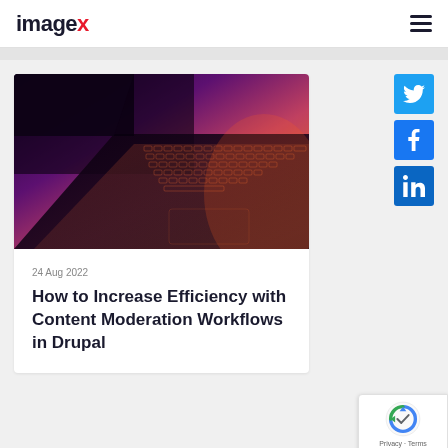imagex
[Figure (photo): Close-up photo of a laptop keyboard with colorful purple, pink, and orange lighting.]
24 Aug 2022
How to Increase Efficiency with Content Moderation Workflows in Drupal